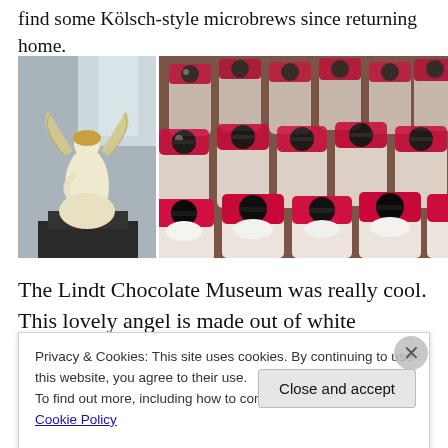find some Kölsch-style microbrews since returning home.
[Figure (photo): White chocolate angel statue displayed at the Lindt Chocolate Museum]
[Figure (photo): Rows of novelty Santa Claus figurines wearing sunglasses and pink hats]
The Lindt Chocolate Museum was really cool. This lovely angel is made out of white chocolate and very large. In
Privacy & Cookies: This site uses cookies. By continuing to use this website, you agree to their use.
To find out more, including how to control cookies, see here: Cookie Policy
Close and accept